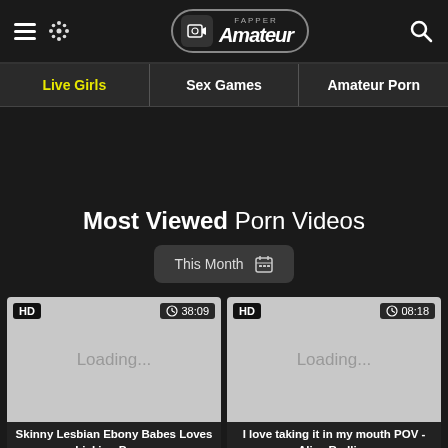Fapper Amateur
Live Girls
Sex Games
Amateur Porn
Most Viewed Porn Videos
This Month
[Figure (screenshot): Video thumbnail placeholder showing HD badge, duration 38:09, and Loading... text]
Skinny Lesbian Ebony Babes Loves Licking Pussy
[Figure (screenshot): Video thumbnail placeholder showing HD badge, duration 08:18, and Loading... text]
I love taking it in my mouth POV - Alice Redlips